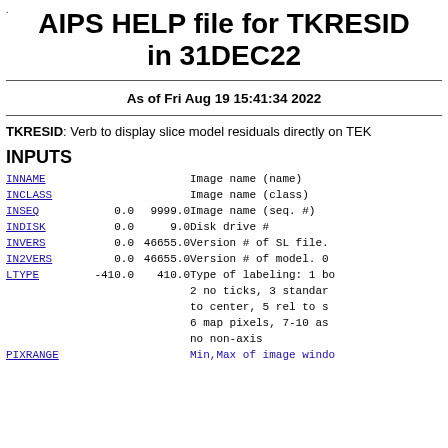AIPS HELP file for TKRESID in 31DEC22
As of Fri Aug 19 15:41:34 2022
TKRESID: Verb to display slice model residuals directly on TEK
INPUTS
| Name | Min | Max | Description |
| --- | --- | --- | --- |
| INNAME |  |  | Image name (name) |
| INCLASS |  |  | Image name (class) |
| INSEQ | 0.0 | 9999.0 | Image name (seq. #) |
| INDISK | 0.0 | 9.0 | Disk drive # |
| INVERS | 0.0 | 46655.0 | Version # of SL file. |
| IN2VERS | 0.0 | 46655.0 | Version # of model. 0 |
| LTYPE | -410.0 | 410.0 | Type of labeling: 1 bo 2 no ticks, 3 standard to center, 5 rel to su 6 map pixels, 7-10 as no non-axis |
| PIXRANGE |  |  | Min,Max of image window |